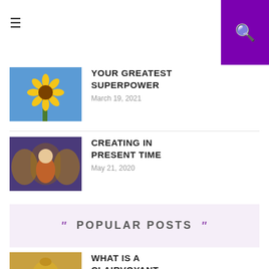☰ [hamburger menu] | [purple search button]
[Figure (photo): Sunflower against blue sky]
YOUR GREATEST SUPERPOWER
March 19, 2021
[Figure (photo): Meditating figure with angel wings painting]
CREATING IN PRESENT TIME
May 21, 2020
POPULAR POSTS
[Figure (photo): Golden Buddha statue]
WHAT IS A CLAIRVOYANT READING AND HEALING?
November 7, 2017